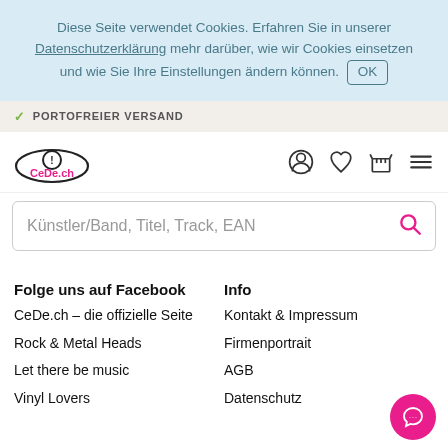Diese Seite verwendet Cookies. Erfahren Sie in unserer Datenschutzerklärung mehr darüber, wie wir Cookies einsetzen und wie Sie Ihre Einstellungen ändern können. OK
✓ PORTOFREIER VERSAND
[Figure (logo): CeDe.ch logo with navigation icons (user, heart, basket, hamburger menu)]
Künstler/Band, Titel, Track, EAN
Folge uns auf Facebook
CeDe.ch – die offizielle Seite
Rock & Metal Heads
Let there be music
Vinyl Lovers
Info
Kontakt & Impressum
Firmenportrait
AGB
Datenschutz